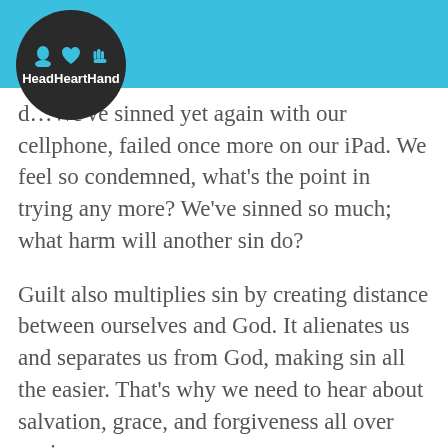[Figure (logo): HeadHeartHand logo circle with blue icons (head/heart/hand silhouettes) and white text on dark background]
d…We've sinned yet again with our cellphone, failed once more on our iPad. We feel so condemned, what's the point in trying any more? We've sinned so much; what harm will another sin do?
Guilt also multiplies sin by creating distance between ourselves and God. It alienates us and separates us from God, making sin all the easier. That's why we need to hear about salvation, grace, and forgiveness all over again.
Nothing deters sin like the forgiveness of sin because it not only removes guilt, it also multiples love for the Forgiver. The more we